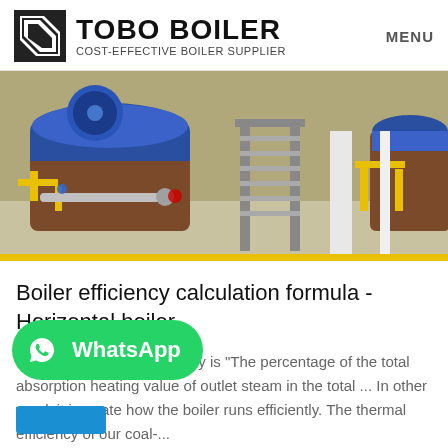TOBO BOILER COST-EFFECTIVE BOILER SUPPLIER | MENU
[Figure (photo): Industrial boiler room with large blue and brown boilers, yellow pipes, metal staircases, and industrial equipment]
Boiler efficiency calculation formula - Horizontal boiler
Definition of Boiler Efficiency is "The percentage of the total absorption heating value of outlet steam in the total ... In other word, it is a rate how the boiler runs efficiently. The thermal efficiency of our coal-...